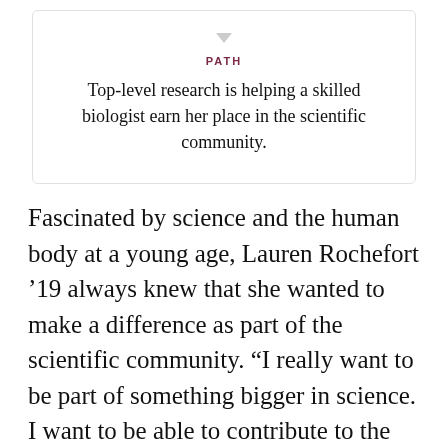PATH
Top-level research is helping a skilled biologist earn her place in the scientific community.
Fascinated by science and the human body at a young age, Lauren Rochefort ’19 always knew that she wanted to make a difference as part of the scientific community. “I really want to be part of something bigger in science. I want to be able to contribute to the body of knowledge that we currently have and use it to help others,” she says.